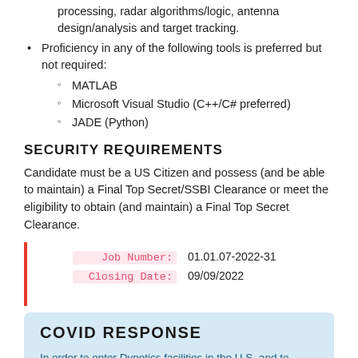processing, radar algorithms/logic, antenna design/analysis and target tracking.
Proficiency in any of the following tools is preferred but not required: MATLAB, Microsoft Visual Studio (C++/C# preferred), JADE (Python)
SECURITY REQUIREMENTS
Candidate must be a US Citizen and possess (and be able to maintain) a Final Top Secret/SSBI Clearance or meet the eligibility to obtain (and maintain) a Final Top Secret Clearance.
Job Number: 01.01.07-2022-31
Closing Date: 09/09/2022
COVID RESPONSE
In order to enter Dynetics facilities in the U.S. and to attend